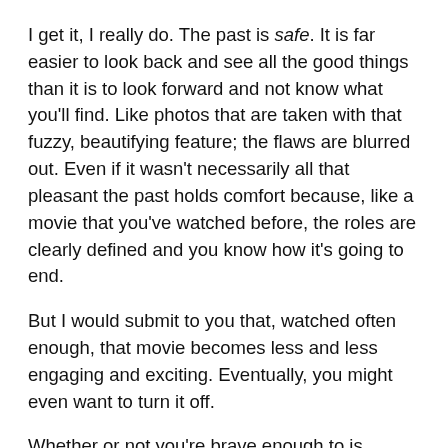I get it, I really do. The past is safe. It is far easier to look back and see all the good things than it is to look forward and not know what you'll find. Like photos that are taken with that fuzzy, beautifying feature; the flaws are blurred out. Even if it wasn't necessarily all that pleasant the past holds comfort because, like a movie that you've watched before, the roles are clearly defined and you know how it's going to end.
But I would submit to you that, watched often enough, that movie becomes less and less engaging and exciting. Eventually, you might even want to turn it off.
Whether or not you're brave enough to is another matter.
The present is risky, sure. You never know how it's going to turn out...what kind of future it's going to bring you to.